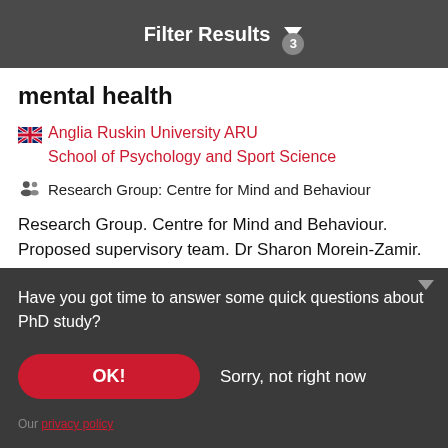Filter Results 3
mental health
🇬🇧 Anglia Ruskin University ARU School of Psychology and Sport Science
👥 Research Group: Centre for Mind and Behaviour
Research Group. Centre for Mind and Behaviour. Proposed supervisory team. Dr Sharon Morein-Zamir. Theme. Clinical
Have you got time to answer some quick questions about PhD study?
OK!    Sorry, not right now
Our privacy policy